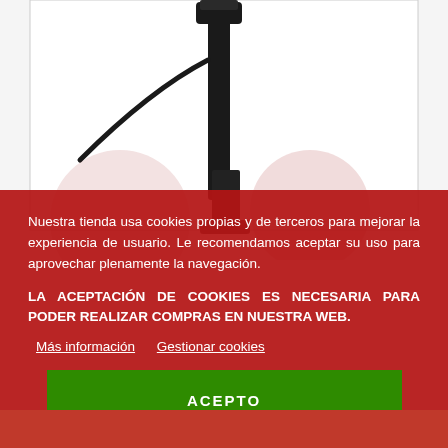[Figure (photo): Product photo of a black bicycle dropper seatpost component with cable, shown against a white background with a gray border frame.]
Nuestra tienda usa cookies propias y de terceros para mejorar la experiencia de usuario. Le recomendamos aceptar su uso para aprovechar plenamente la navegación.
LA ACEPTACIÓN DE COOKIES ES NECESARIA PARA PODER REALIZAR COMPRAS EN NUESTRA WEB.
Más información   Gestionar cookies
ACEPTO